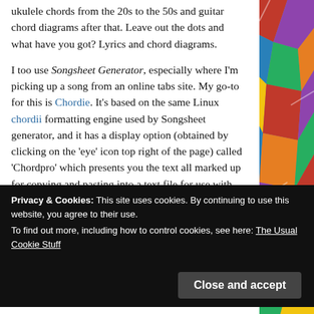ukulele chords from the 20s to the 50s and guitar chord diagrams after that. Leave out the dots and what have you got? Lyrics and chord diagrams.
I too use Songsheet Generator, especially where I'm picking up a song from an online tabs site. My go-to for this is Chordie. It's based on the same Linux chordii formatting engine used by Songsheet generator, and it has a display option (obtained by clicking on the 'eye' icon top right of the page) called 'Chordpro' which presents you the text all marked up for copying and pasting into a text file for use with
Privacy & Cookies: This site uses cookies. By continuing to use this website, you agree to their use.
To find out more, including how to control cookies, see here: The Usual Cookie Stuff
Close and accept
the same as 'evenly spaced'), so I can see why trying